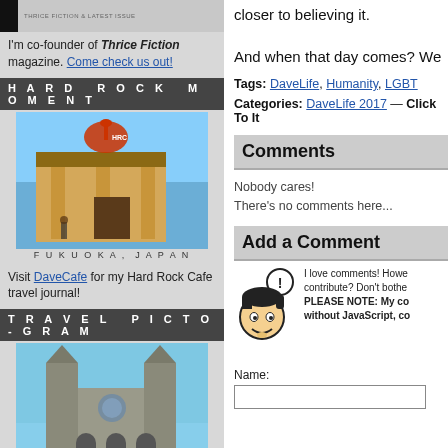[Figure (photo): Top strip with black bar and small text image]
I'm co-founder of Thrice Fiction magazine. Come check us out!
HARD ROCK MOMENT
[Figure (photo): Hard Rock Cafe building in Fukuoka, Japan with guitar sign]
FUKUOKA, JAPAN
Visit DaveCafe for my Hard Rock Cafe travel journal!
TRAVEL PICTO-GRAM
[Figure (photo): Notre Dame Cathedral in Paris, France]
PARIS, FRANCE
Visit my travel map to see where I have been in this world!
BADGEMANIA
[Figure (logo): Blogography.com! badge with blue B]
ENTRIES FEED
closer to believing it.

And when that day comes? We
Tags: DaveLife, Humanity, LGBT
Categories: DaveLife 2017 — Click To It
Comments
Nobody cares!
There's no comments here...
Add a Comment
[Figure (illustration): Cartoon avatar of a character with exclamation bubble]
I love comments! However, contribute? Don't bother... PLEASE NOTE: My co... without JavaScript, co...
Name: